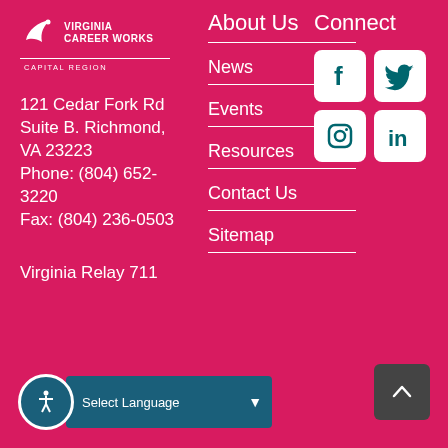[Figure (logo): Virginia Career Works Capital Region logo — white bird/wing icon with text]
121 Cedar Fork Rd Suite B. Richmond, VA 23223
Phone: (804) 652-3220
Fax: (804) 236-0503
About Us
News
Events
Resources
Contact Us
Sitemap
Connect
[Figure (infographic): Social media buttons: Facebook, Twitter, Instagram, LinkedIn]
Virginia Relay 711